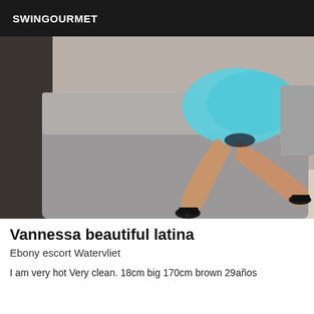SWINGOURMET
[Figure (photo): A woman posing on a sofa wearing a light blue skirt and black high heels, showing her legs]
Vannessa beautiful latina
Ebony escort Watervliet
I am very hot Very clean. 18cm big 170cm brown 29años